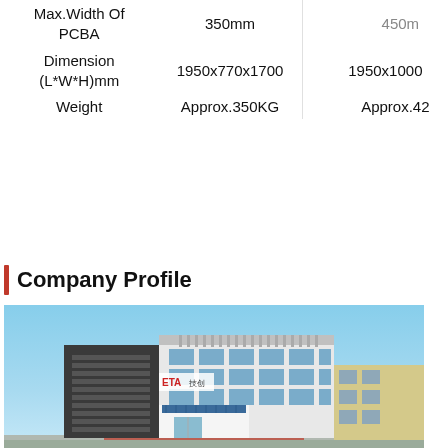|  | Model A | Model B |
| --- | --- | --- |
| Max.Width Of PCBA | 350mm | 450mm |
| Dimension (L*W*H)mm | 1950x770x1700 | 1950x1000… |
| Weight | Approx.350KG | Approx.42… |
Company Profile
[Figure (photo): Exterior photo of ETA company building, modern multi-story commercial building with glass windows and ETA logo signage, under blue sky]